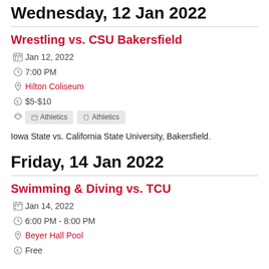Wednesday, 12 Jan 2022
Wrestling vs. CSU Bakersfield
Jan 12, 2022
7:00 PM
Hilton Coliseum
$5-$10
Athletics | Athletics
Iowa State vs. California State University, Bakersfield.
Friday, 14 Jan 2022
Swimming & Diving vs. TCU
Jan 14, 2022
6:00 PM - 8:00 PM
Beyer Hall Pool
Free